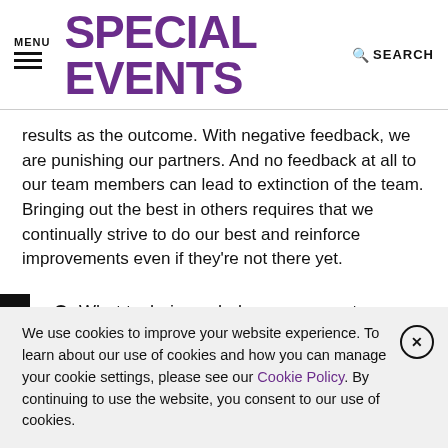MENU | SPECIAL EVENTS | SEARCH
results as the outcome. With negative feedback, we are punishing our partners. And no feedback at all to our team members can lead to extinction of the team. Bringing out the best in others requires that we continually strive to do our best and reinforce improvements even if they're not there yet.
Q: What techniques help assure great teamwork?
A: In the early planning stages of our events, we develop a
We use cookies to improve your website experience. To learn about our use of cookies and how you can manage your cookie settings, please see our Cookie Policy. By continuing to use the website, you consent to our use of cookies.